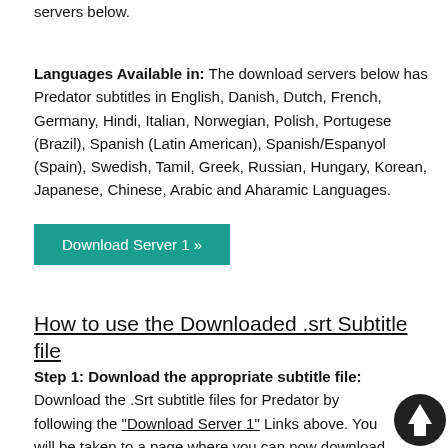servers below.
Languages Available in: The download servers below has Predator subtitles in English, Danish, Dutch, French, Germany, Hindi, Italian, Norwegian, Polish, Portugese (Brazil), Spanish (Latin American), Spanish/Espanyol (Spain), Swedish, Tamil, Greek, Russian, Hungary, Korean, Japanese, Chinese, Arabic and Aharamic Languages.
[Figure (other): Teal/green button labeled 'Download Server 1 »']
How to use the Downloaded .srt Subtitle file
Step 1: Download the appropriate subtitle file:
Download the .Srt subtitle files for Predator by following the "Download Server 1" Links above. You will be taken to a page where you can now download the appropriate subtitle file for your movie